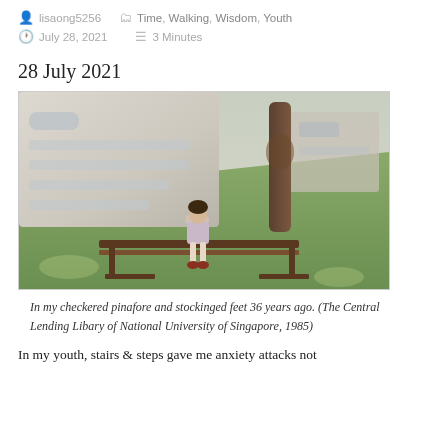lisaong5256   Time, Walking, Wisdom, Youth
July 28, 2021   3 Minutes
28 July 2021
[Figure (photo): A young girl in a checkered pinafore sitting on a wooden bench on a grassy slope in front of a multi-storey building with curved architecture, with a large tree behind her. The photo appears vintage, taken in 1985 at the Central Lending Library of National University of Singapore.]
In my checkered pinafore and stockinged feet 36 years ago. (The Central Lending Libary of National University of Singapore, 1985)
In my youth, stairs & steps gave me anxiety attacks not